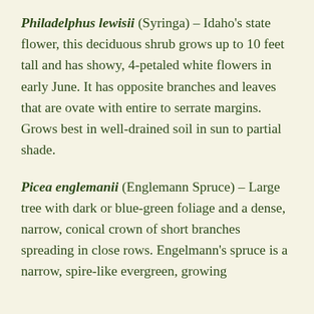Philadelphus lewisii (Syringa) – Idaho's state flower, this deciduous shrub grows up to 10 feet tall and has showy, 4-petaled white flowers in early June. It has opposite branches and leaves that are ovate with entire to serrate margins. Grows best in well-drained soil in sun to partial shade.
Picea englemanii (Englemann Spruce) – Large tree with dark or blue-green foliage and a dense, narrow, conical crown of short branches spreading in close rows. Engelmann's spruce is a narrow, spire-like evergreen, growing